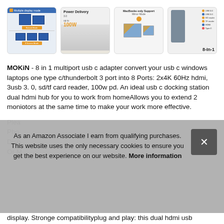[Figure (screenshot): Four product thumbnail images in a row: (1) multiple display modes diagram, (2) Power Delivery 3.0 100W with laptop photo, (3) MacBooks only Support Mirror Mode with two screens, (4) 8-in-1 USB-C hub port diagram]
MOKiN - 8 in 1 multiport usb c adapter convert your usb c windows laptops one type c/thunderbolt 3 port into 8 Ports: 2x4K 60Hz hdmi, 3usb 3. 0, sd/tf card reader, 100w pd. An ideal usb c docking station dual hdmi hub for you to work from homeAllows you to extend 2 moniotors at the same time to make your work more effective.
As an Amazon Associate I earn from qualifying purchases. This website uses the only necessary cookies to ensure you get the best experience on our website. More information